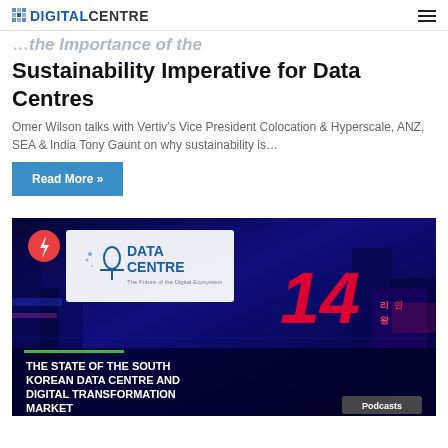DIGITALCENTRE
Sustainability Imperative for Data Centres
Omer Wilson talks with Vertiv's Vice President Colocation & Hyperscale, ANZ, SEA & India Tony Gaunt on why sustainability is…
Read More »
[Figure (photo): Data Centre podcast episode 14 thumbnail showing Korean city night scene with neon signs, overlaid with Data Centre podcast logo and episode title 'The State of the South Korean Data Centre and Digital Transformation Market']